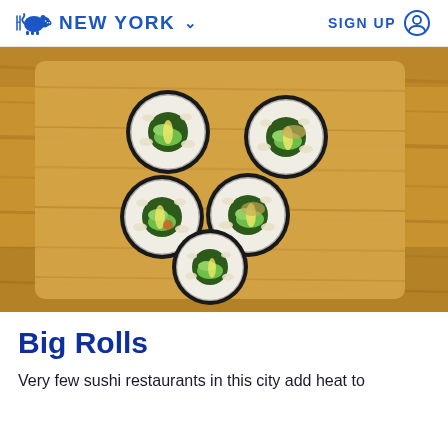NEW YORK  SIGN UP
[Figure (photo): Overhead photo of sushi rolls arranged on a wooden cutting board, showing avocado and rice fillings wrapped in nori seaweed]
Big Rolls
Very few sushi restaurants in this city add heat to